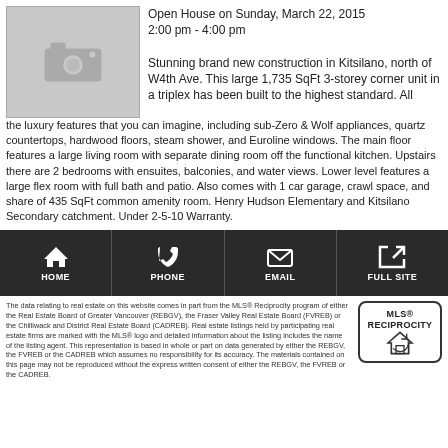[Figure (photo): Camera placeholder image (grey box with camera icon)]
Open House on Sunday, March 22, 2015
2:00 pm - 4:00 pm
Stunning brand new construction in Kitsilano, north of W4th Ave. This large 1,735 SqFt 3-storey corner unit in a triplex has been built to the highest standard. All the luxury features that you can imagine, including sub-Zero & Wolf appliances, quartz countertops, hardwood floors, steam shower, and Euroline windows. The main floor features a large living room with separate dining room off the functional kitchen. Upstairs there are 2 bedrooms with ensuites, balconies, and water views. Lower level features a large flex room with full bath and patio. Also comes with 1 car garage, crawl space, and share of 435 SqFt common amenity room. Henry Hudson Elementary and Kitsilano Secondary catchment. Under 2-5-10 Warranty.
[Figure (infographic): Navigation bar with HOME, PHONE, EMAIL, FULL SITE icons on dark background]
The data relating to real estate on this website comes in part from the MLS® Reciprocity program of either the Real Estate Board of Greater Vancouver (REBGV), the Fraser Valley Real Estate Board (FVREB) or the Chilliwack and District Real Estate Board (CADREB). Real estate listings held by participating real estate firms are marked with the MLS® logo and detailed information about the listing includes the name of the listing agent. This representation is based in whole or part on data generated by either the REBGV, the FVREB or the CADREB which assumes no responsibility for its accuracy. The materials contained on this page may not be reproduced without the express written consent of either the REBGV, the FVREB or the CADREB.
[Figure (logo): MLS RECIPROCITY logo with house icon]